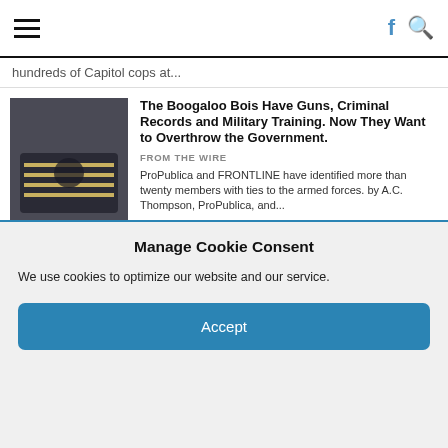Navigation bar with hamburger menu, Facebook icon, and search icon
hundreds of Capitol cops at...
The Boogaloo Bois Have Guns, Criminal Records and Military Training. Now They Want to Overthrow the Government.
FROM THE WIRE
ProPublica and FRONTLINE have identified more than twenty members with ties to the armed forces. by A.C. Thompson, ProPublica, and...
ProPublica and The Pudding offer scholarships to help pay for your journalism expenses in 2021.
FROM THE WIRE
Manage Cookie Consent
We use cookies to optimize our website and our service.
Accept